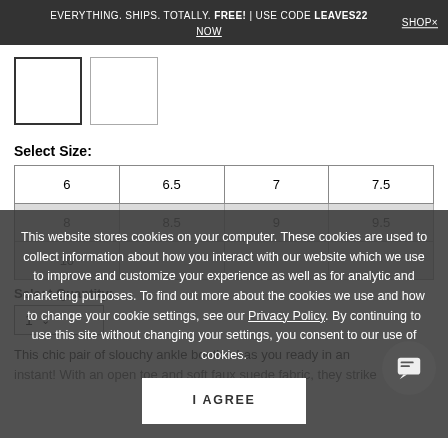EVERYTHING. SHIPS. TOTALLY. FREE! | USE CODE LEAVES22 NOW   SHOP×
[Figure (photo): Two small product thumbnail image boxes]
Select Size:
| 6 | 6.5 | 7 | 7.5 |
| 8 | 8.5 | 9 | 9.5 |
| 10 |  |  |  |
This website stores cookies on your computer. These cookies are used to collect information about how you interact with our website which we use to improve and customize your experience as well as for analytic and marketing purposes. To find out more about the cookies we use and how to change your cookie settings, see our Privacy Policy. By continuing to use this site without changing your settings, you consent to our use of cookies.
I AGREE
Select Quantity:
1
This chic pair of slouchy ankle booties has you ready in an instant! With an open toe and soft faux suede fabric, they strike